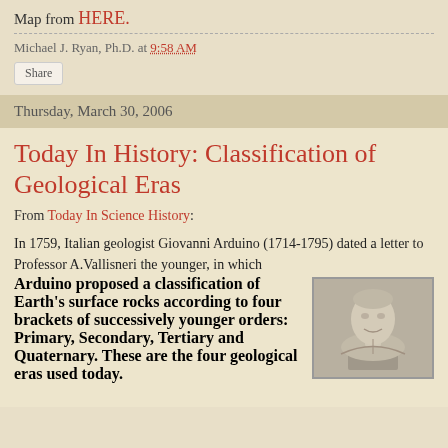Map from HERE.
Michael J. Ryan, Ph.D. at 9:58 AM
Share
Thursday, March 30, 2006
Today In History: Classification of Geological Eras
From Today In Science History:
In 1759, Italian geologist Giovanni Arduino (1714-1795) dated a letter to Professor A.Vallisneri the younger, in which Arduino proposed a classification of Earth's surface rocks according to four brackets of successively younger orders: Primary, Secondary, Tertiary and Quaternary. These are the four geological eras used today.
[Figure (photo): Marble bust sculpture portrait, likely of Giovanni Arduino]